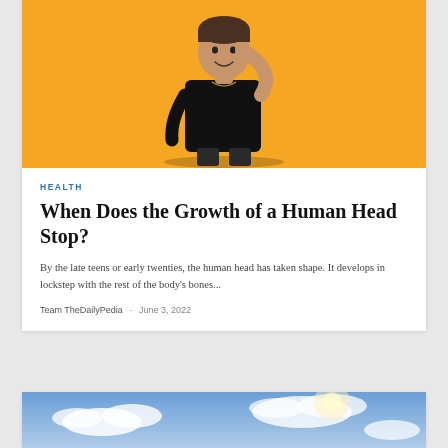[Figure (photo): Man in black t-shirt smiling and pointing to his head, on an orange background]
HEALTH
When Does the Growth of a Human Head Stop?
By the late teens or early twenties, the human head has taken shape. It develops in lockstep with the rest of the body's bones...
Team TheDailyPedia  -  June 3, 2022
[Figure (photo): Sky with clouds, partial view at the bottom of the page]